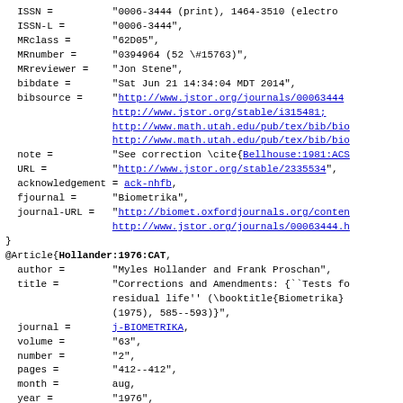ISSN = "0006-3444 (print), 1464-3510 (electro...
  ISSN-L = "0006-3444",
  MRclass = "62D05",
  MRnumber = "0394964 (52 \#15763)",
  MRreviewer = "Jon Stene",
  bibdate = "Sat Jun 21 14:34:04 MDT 2014",
  bibsource = "http://www.jstor.org/journals/00063444...
               http://www.jstor.org/stable/i315481;
               http://www.math.utah.edu/pub/tex/bib/bio...
               http://www.math.utah.edu/pub/tex/bib/bio...
  note = "See correction \cite{Bellhouse:1981:ACS...
  URL = "http://www.jstor.org/stable/2335534",
  acknowledgement = ack-nhfb,
  fjournal = "Biometrika",
  journal-URL = "http://biomet.oxfordjournals.org/conten...
                http://www.jstor.org/journals/00063444.h...
}

@Article{Hollander:1976:CAT,
  author = "Myles Hollander and Frank Proschan",
  title = "Corrections and Amendments: {``Tests fo...
           residual life'' (\booktitle{Biometrika}...
           (1975), 585--593)}",
  journal = j-BIOMETRIKA,
  volume = "63",
  number = "2",
  pages = "412--412",
  month = aug,
  year = "1976",
  CODEN = "BIOKAX",
  DOI = "http://dx.doi.org/10.2307/23356344"